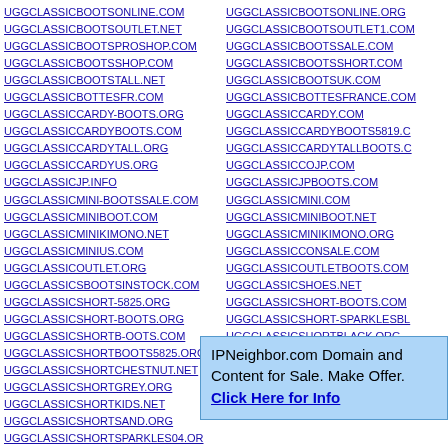UGGCLASSICBOOTSONLINE.COM
UGGCLASSICBOOTSOUTLET.NET
UGGCLASSICBOOTSPROSHOP.COM
UGGCLASSICBOOTSSHOP.COM
UGGCLASSICBOOTSTALL.NET
UGGCLASSICBOTTESFR.COM
UGGCLASSICCARDY-BOOTS.ORG
UGGCLASSICCARDYBOOTS.COM
UGGCLASSICCARDYTALL.ORG
UGGCLASSICCARDYUS.ORG
UGGCLASSICJP.INFO
UGGCLASSICMINI-BOOTSSALE.COM
UGGCLASSICMINIBOOT.COM
UGGCLASSICMINIKIMONO.NET
UGGCLASSICMINIUS.COM
UGGCLASSICOUTLET.ORG
UGGCLASSICSBOOTSINSTOCK.COM
UGGCLASSICSHORT-5825.ORG
UGGCLASSICSHORT-BOOTS.ORG
UGGCLASSICSHORTB-OOTS.COM
UGGCLASSICSHORTBOOTS5825.ORG
UGGCLASSICSHORTCHESTNUT.NET
UGGCLASSICSHORTGREY.ORG
UGGCLASSICSHORTKIDS.NET
UGGCLASSICSHORTSAND.ORG
UGGCLASSICSHORTSPARKLES04.OR
UGGCLASSICSHORTUS.INFO
UGGCLASSICSPARKLE.COM
UGGCLASSICBOOTSONLINE.ORG
UGGCLASSICBOOTSOUTLET1.COM
UGGCLASSICBOOTSSALE.COM
UGGCLASSICBOOTSSHORT.COM
UGGCLASSICBOOTSUK.COM
UGGCLASSICBOTTESFRANCE.COM
UGGCLASSICCARDY.COM
UGGCLASSICCARDYBOOTS5819.COM
UGGCLASSICCARDYTALLBOOTS.COM
UGGCLASSICCOJP.COM
UGGCLASSICJPBOOTS.COM
UGGCLASSICMINI.COM
UGGCLASSICMINIBOOT.NET
UGGCLASSICMINIKIMONO.ORG
UGGCLASSICCONSALE.COM
UGGCLASSICOUTLETBOOTS.COM
UGGCLASSICSHOES.NET
UGGCLASSICSHORT-BOOTS.COM
UGGCLASSICSHORT-SPARKLESBL
UGGCLASSICSHORTBLACK.ORG
UGGCLASSICSHORTCHEAP.COM
UGGCLASSICSHORTCHESTNUT.ORG
UGGCLASSICSHORTIRELAND.COM
UGGCLASSICSHORTKIMONO.ORG
IPNeighbor.com Domain and Content for Sale. Make Offer. Click Here for Info